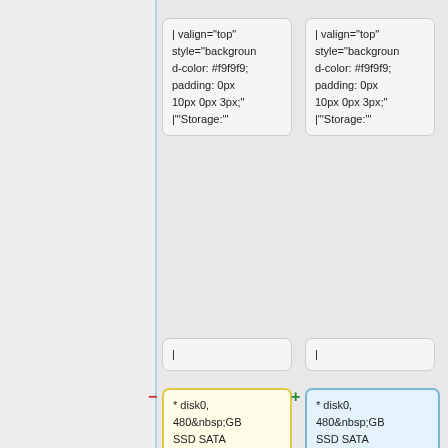| valign="top" style="background-color: #f9f9f9; padding: 0px 10px 0px 3px;" |"'Storage:'"
| valign="top" style="background-color: #f9f9f9; padding: 0px 10px 0px 3px;" |"'Storage:'"
|
|
* disk0, 480&nbsp;GB SSD SATA Samsung SAMSUNG MZ7KM480 (dev: /dev/disk0, by-path: /dev/disk/by-path/pci-0000:81:00.0-scsi-0:0:14:0) (primary disk)<br />
* disk0, 480&nbsp;GB SSD SATA Samsung SAMSUNG MZ7KM480 (dev: <code class="file">/dev/disk0</code>, by-path: <code class="file">/dev/disk/by-path/pci-0000:81:00.0